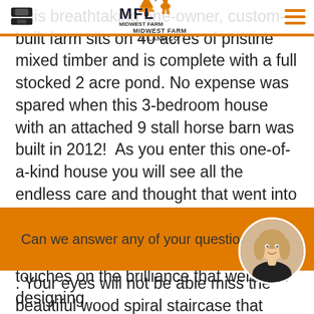[Figure (logo): Midwest Farm & Land Co logo with deer and tree silhouette icon, text MFL]
This breathtaking one-owner, custom-built farm sits on 40 acres of pristine mixed timber and is complete with a full stocked 2 acre pond. No expense was spared when this 3-bedroom house with an attached 9 stall horse barn was built in 2012!  As you enter this one-of-a-kind house you will see all the endless care and thought that went into the living space. There is tile work that was specially designed on the main floor and a massive stone gas fireplace . Your eyes will not be able miss the beautiful wood spiral staircase that leads to the 2nd floor. On the 2nd floor there is the great room with a ½ bath and an office that has panoramic views of the 9 tailor-made horse stalls. The attached horse barn has a concrete floor with
touches on the brilliance that went into designing
[Figure (photo): Chat widget with orange background showing 'Can we answer any of your questions?' and a circular photo of a blonde female agent on the right side]